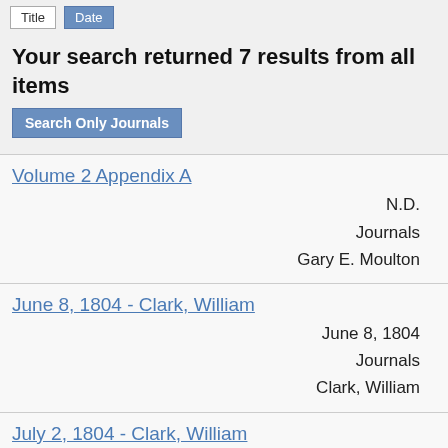Title  Date
Your search returned 7 results from all items  Search Only Journals
Volume 2 Appendix A
N.D.
Journals
Gary E. Moulton
June 8, 1804 - Clark, William
June 8, 1804
Journals
Clark, William
July 2, 1804 - Clark, William
July 2, 1804
Journals
Clark, William